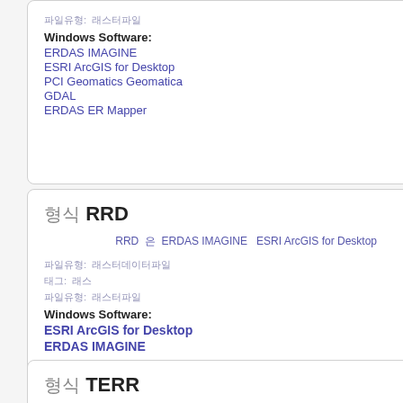파일유형: 래스터파일
Windows Software:
ERDAS IMAGINE
ESRI ArcGIS for Desktop
PCI Geomatics Geomatica
GDAL
ERDAS ER Mapper
형식 RRD
RRD 은 ERDAS IMAGINE  ESRI ArcGIS for Desktop
파일유형: 래스터데이터파일
태그: 래스
파일유형: 래스터파일
Windows Software:
ESRI ArcGIS for Desktop
ERDAS IMAGINE
형식 TERR